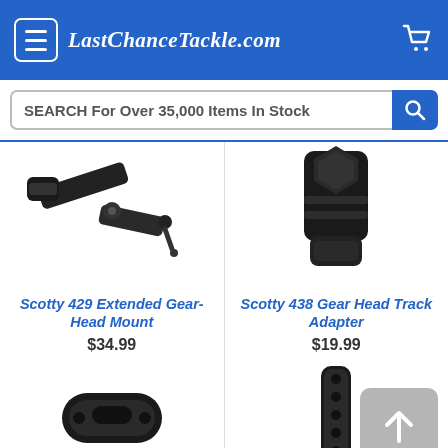LastChanceTackle.com
SEARCH For Over 35,000 Items In Stock
[Figure (photo): Scotty 429 Extended Gear-Head Mount product photo, black metal articulating arm mount]
Scotty 429 Extended Gear-Head Mount
$34.99
[Figure (photo): Scotty 438 Gear Head Track Adapter product photo, black cylindrical adapter]
Scotty 438 Gear Head Track Adapter
$19.99
[Figure (photo): Small black oval mounting bracket with two holes]
[Figure (photo): Black elongated mounting bar with multiple holes]